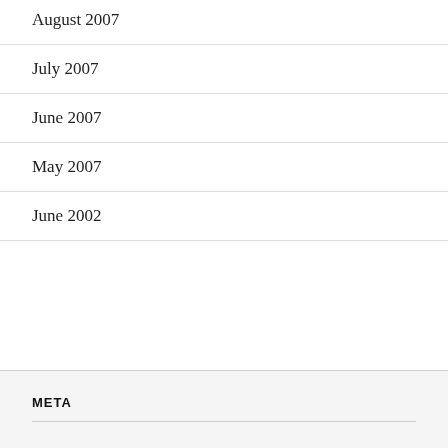August 2007
July 2007
June 2007
May 2007
June 2002
META